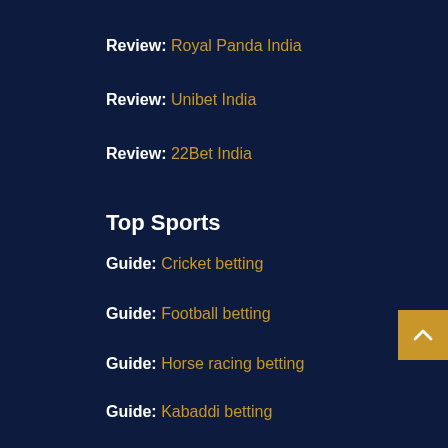Review: Royal Panda India
Review: Unibet India
Review: 22Bet India
Top Sports
Guide: Cricket betting
Guide: Football betting
Guide: Horse racing betting
Guide: Kabaddi betting
Watch: Live Football Streaming